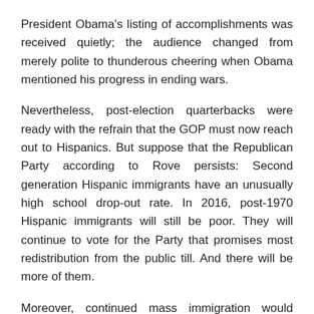President Obama's listing of accomplishments was received quietly; the audience changed from merely polite to thunderous cheering when Obama mentioned his progress in ending wars.
Nevertheless, post-election quarterbacks were ready with the refrain that the GOP must now reach out to Hispanics. But suppose that the Republican Party according to Rove persists: Second generation Hispanic immigrants have an unusually high school drop-out rate. In 2016, post-1970 Hispanic immigrants will still be poor. They will continue to vote for the Party that promises most redistribution from the public till. And there will be more of them.
Moreover, continued mass immigration would displace forever the sector of the American population that supports fiscal responsibility and the quality of life of future generations.